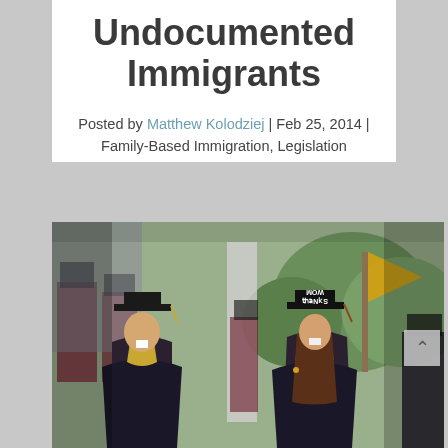Undocumented Immigrants
Posted by Matthew Kolodziej | Feb 25, 2014 | Family-Based Immigration, Legislation
[Figure (photo): Graduation ceremony photo showing students from behind wearing academic caps and gowns in maroon/dark red. One cap on the right has 'THANKS MOM' written on it in white letters (mirrored). A yellow/gold flag or banner is visible in the background among green trees.]